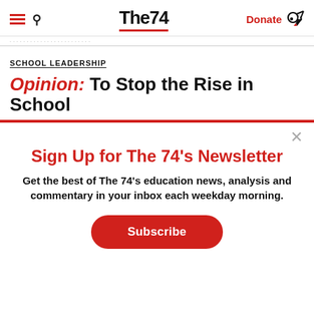The74 | Donate
SCHOOL LEADERSHIP
Opinion: To Stop the Rise in School
Sign Up for The 74's Newsletter
Get the best of The 74's education news, analysis and commentary in your inbox each weekday morning.
Subscribe